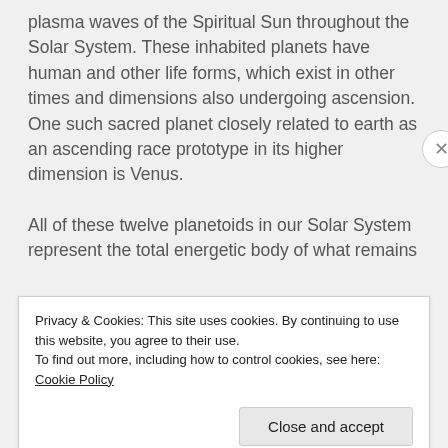plasma waves of the Spiritual Sun throughout the Solar System. These inhabited planets have human and other life forms, which exist in other times and dimensions also undergoing ascension. One such sacred planet closely related to earth as an ascending race prototype in its higher dimension is Venus.
All of these twelve planetoids in our Solar System represent the total energetic body of what remains
Privacy & Cookies: This site uses cookies. By continuing to use this website, you agree to their use.
To find out more, including how to control cookies, see here: Cookie Policy
Close and accept